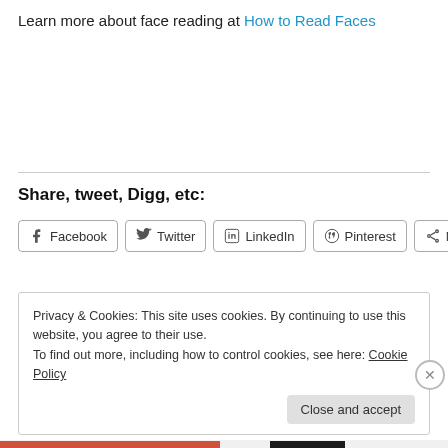Learn more about face reading at How to Read Faces
Share, tweet, Digg, etc:
Facebook  Twitter  LinkedIn  Pinterest  More
Privacy & Cookies: This site uses cookies. By continuing to use this website, you agree to their use.
To find out more, including how to control cookies, see here: Cookie Policy
Close and accept